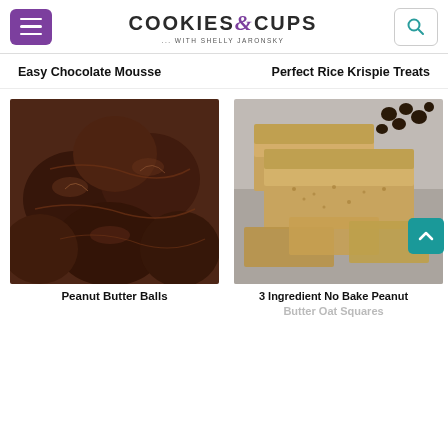Cookies & Cups with Shelly Jaronsky
Easy Chocolate Mousse
Perfect Rice Krispie Treats
[Figure (photo): Chocolate-covered peanut butter balls with chocolate drizzle, piled together on a surface]
[Figure (photo): Stacked no-bake peanut butter oat squares with chocolate chips visible in the background]
Peanut Butter Balls
3 Ingredient No Bake Peanut Butter Oat Squares